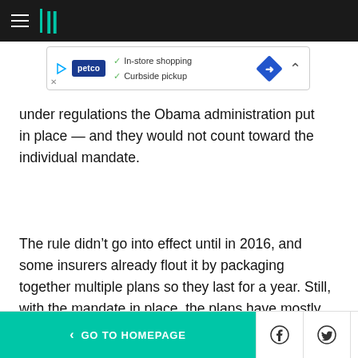HuffPost navigation header with hamburger menu and logo
[Figure (other): Petco advertisement banner showing in-store shopping and curbside pickup options with a blue diamond directional arrow icon]
under regulations the Obama administration put in place — and they would not count toward the individual mandate.
The rule didn't go into effect until in 2016, and some insurers already flout it by packaging together multiple plans so they last for a year. Still, with the mandate in place, the plans have mostly served a relatively small niche market: those with brief lapses in coverage.
< GO TO HOMEPAGE  [Facebook] [Twitter] [X]